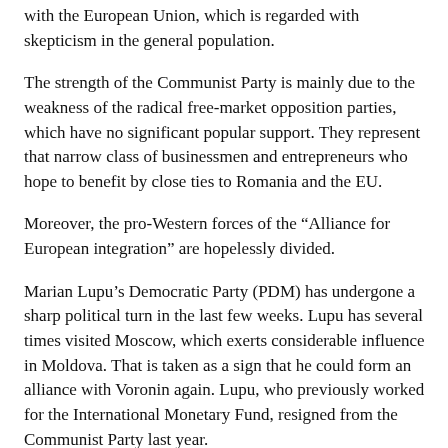with the European Union, which is regarded with skepticism in the general population.
The strength of the Communist Party is mainly due to the weakness of the radical free-market opposition parties, which have no significant popular support. They represent that narrow class of businessmen and entrepreneurs who hope to benefit by close ties to Romania and the EU.
Moreover, the pro-Western forces of the “Alliance for European integration” are hopelessly divided.
Marian Lupu’s Democratic Party (PDM) has undergone a sharp political turn in the last few weeks. Lupu has several times visited Moscow, which exerts considerable influence in Moldova. That is taken as a sign that he could form an alliance with Voronin again. Lupu, who previously worked for the International Monetary Fund, resigned from the Communist Party last year.